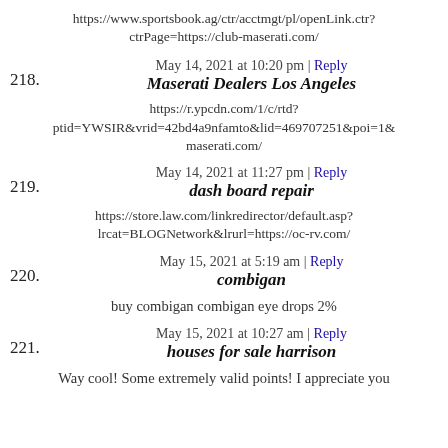https://www.sportsbook.ag/ctr/acctmgt/pl/openLink.ctr?ctrPage=https://club-maserati.com/
May 14, 2021 at 10:20 pm | Reply
218. Maserati Dealers Los Angeles
https://r.ypcdn.com/1/c/rtd?ptid=YWSIR&vrid=42bd4a9nfamto&lid=469707251&poi=1& maserati.com/
May 14, 2021 at 11:27 pm | Reply
219. dash board repair
https://store.law.com/linkredirector/default.asp?lrcat=BLOGNetwork&lrurl=https://oc-rv.com/
May 15, 2021 at 5:19 am | Reply
220. combigan
buy combigan combigan eye drops 2%
May 15, 2021 at 10:27 am | Reply
221. houses for sale harrison
Way cool! Some extremely valid points! I appreciate you